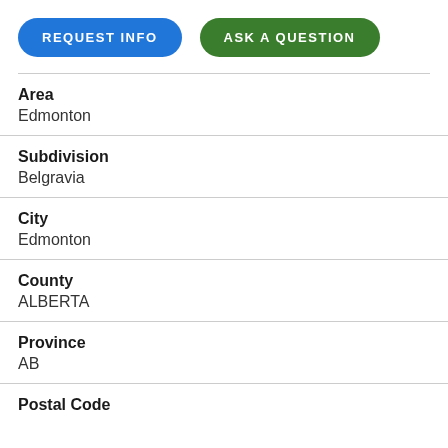[Figure (other): Two rounded pill-shaped buttons: 'REQUEST INFO' in blue and 'ASK A QUESTION' in green]
Area
Edmonton
Subdivision
Belgravia
City
Edmonton
County
ALBERTA
Province
AB
Postal Code